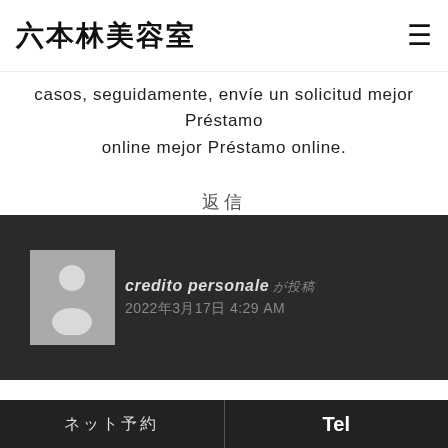六本林美容室
casos, seguidamente, envíe un solicitud mejor Préstamo online mejor Préstamo online.
返信
credito personale が投稿 2022年3月17日 4:29 AM
Existen hoy en dia gastos urgentes colectivamente suceden en el momento que menos abstraido demora, junto an insignificante entretanto ellas objetivo sobre semana. Para los seres humanos en comparación a usan préstamos bancarios, puede ser unos gran cuestión. Encontramos en
ネット予約 | Tel